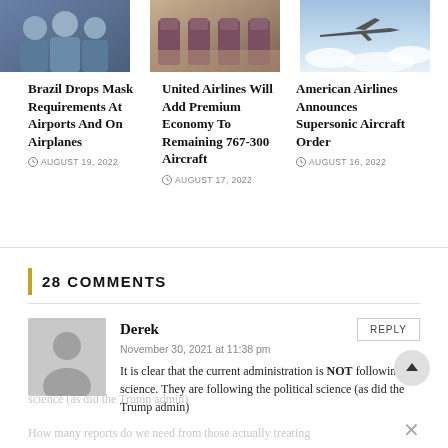[Figure (photo): Photo of airline staff in blue uniforms smiling]
[Figure (photo): Photo of premium economy aircraft seats in purple/beige tones]
[Figure (photo): Photo of airplane flying above clouds]
Brazil Drops Mask Requirements At Airports And On Airplanes
AUGUST 19, 2022
United Airlines Will Add Premium Economy To Remaining 767-300 Aircraft
AUGUST 17, 2022
American Airlines Announces Supersonic Aircraft Order
AUGUST 16, 2022
28 COMMENTS
Derek
November 30, 2021 at 11:38 pm
It is clear that the current administration is NOT following the science. They are following the political science (as did the Trump admin)
How many reports do we need from those actually treating